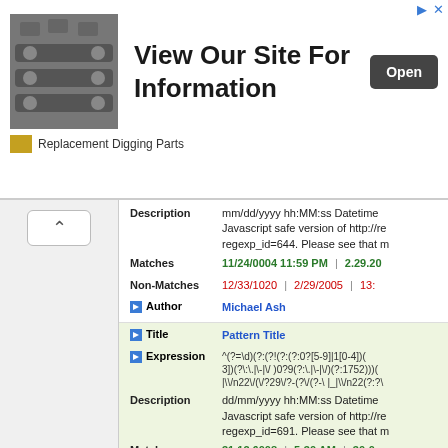[Figure (screenshot): Advertisement banner: industrial chain parts image on left, 'View Our Site For Information' text in center, 'Open' button on right, 'Replacement Digging Parts' brand label below]
Description: mm/dd/yyyy hh:MM:ss Datetime Javascript safe version of http://re regexp_id=644. Please see that m
Matches: 11/24/0004 11:59 PM | 2.29.20
Non-Matches: 12/33/1020 | 2/29/2005 | 13:
Author: Michael Ash
Title: Pattern Title
Expression: ^(?=\d)(?:(?!(?:(?:0?[5-9]|1[0-4])(3)(?:\.|\-|\/)0?9(?:\.|\-|\/)(?:1752)))(?... (truncated)
Description: dd/mm/yyyy hh:MM:ss Datetime Javascript safe version of http://re regexp_id=691. Please see that m
Matches: 31.12.6008 | 5:30 AM | 30-0
Non-Matches: 00/00/0000 | 99:99:99 | 29/0
Author: Michael Ash
Title: Pattern Title